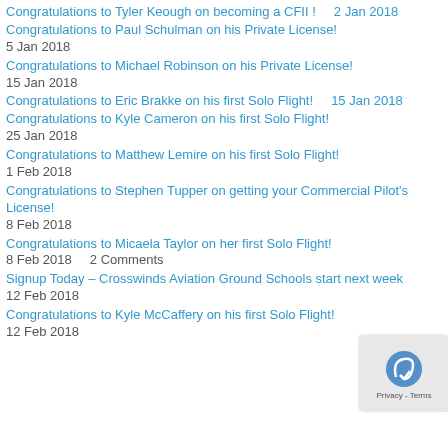Congratulations to Tyler Keough on becoming a CFII !    2 Jan 2018
Congratulations to Paul Schulman on his Private License!
5 Jan 2018
Congratulations to Michael Robinson on his Private License!
15 Jan 2018
Congratulations to Eric Brakke on his first Solo Flight!    15 Jan 2018
Congratulations to Kyle Cameron on his first Solo Flight!
25 Jan 2018
Congratulations to Matthew Lemire on his first Solo Flight!
1 Feb 2018
Congratulations to Stephen Tupper on getting your Commercial Pilot's License!
8 Feb 2018
Congratulations to Micaela Taylor on her first Solo Flight!
8 Feb 2018    2 Comments
Signup Today – Crosswinds Aviation Ground Schools start next week
12 Feb 2018
Congratulations to Kyle McCaffery on his first Solo Flight!
12 Feb 2018